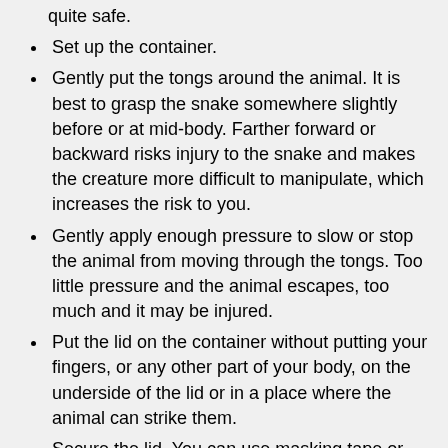quite safe.
Set up the container.
Gently put the tongs around the animal. It is best to grasp the snake somewhere slightly before or at mid-body. Farther forward or backward risks injury to the snake and makes the creature more difficult to manipulate, which increases the risk to you.
Gently apply enough pressure to slow or stop the animal from moving through the tongs. Too little pressure and the animal escapes, too much and it may be injured.
Put the lid on the container without putting your fingers, or any other part of your body, on the underside of the lid or in a place where the animal can strike them.
Secure the lid. You can use masking tape or bungee cords to secure a trash can lid.